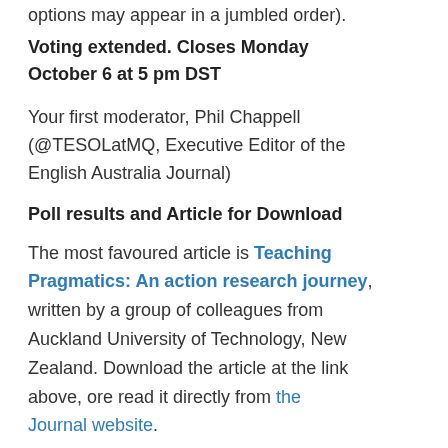options may appear in a jumbled order).
Voting extended. Closes Monday October 6 at 5 pm DST
Your first moderator, Phil Chappell (@TESOLatMQ, Executive Editor of the English Australia Journal)
Poll results and Article for Download
The most favoured article is Teaching Pragmatics: An action research journey, written by a group of colleagues from Auckland University of Technology, New Zealand. Download the article at the link above, ore read it directly from the Journal website.